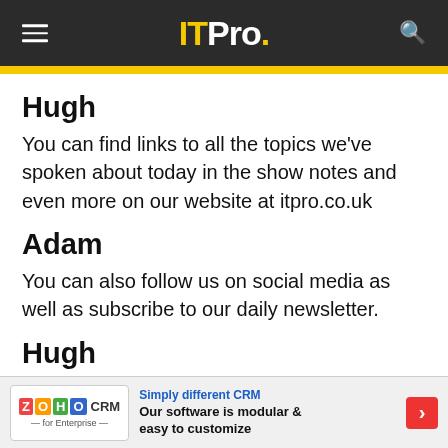ITPro.
Hugh
You can find links to all the topics we've spoken about today in the show notes and even more on our website at itpro.co.uk
Adam
You can also follow us on social media as well as subscribe to our daily newsletter.
Hugh
Don't forget to subscribe to the IT Pro Podcast wherever you find podcasts. And if you're enjoying the
[Figure (other): Zoho CRM advertisement banner: 'Simply different CRM — Our software is modular & easy to customize']